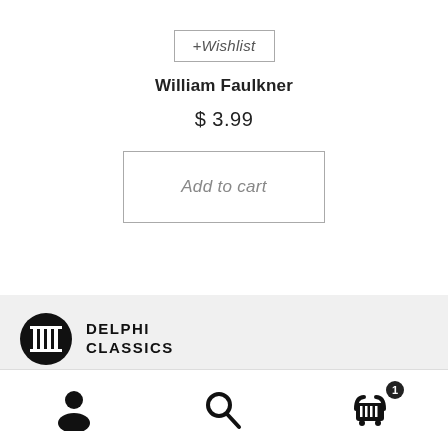+ Wishlist
William Faulkner
$ 3.99
Add to cart
[Figure (logo): Delphi Classics logo with column icon and text DELPHI CLASSICS]
Howard Pyle
[Figure (other): Bottom navigation bar with user icon, search icon, and cart icon with badge showing 1]